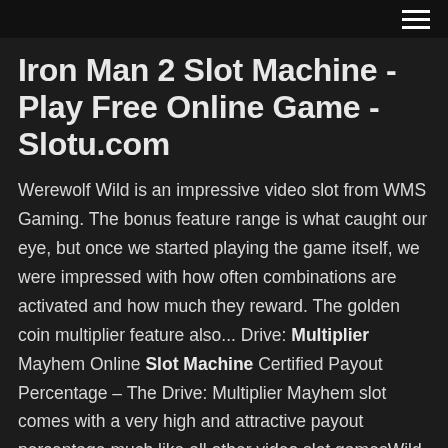[hamburger menu icon]
Iron Man 2 Slot Machine - Play Free Online Game - Slotu.com
Werewolf Wild is an impressive video slot from WMS Gaming. The bonus feature range is what caught our eye, but once we started playing the game itself, we were impressed with how often combinations are activated and how much they reward. The golden coin multiplier feature also... Drive: Multiplier Mayhem Online Slot Machine Certified Payout Percentage – The Drive: Multiplier Mayhem slot comes with a very high and attractive payout percentage much like all other video slot gamesWild Symbols – There are a set of 5 different wild symbols in play on each of the five video reels of this slot game and